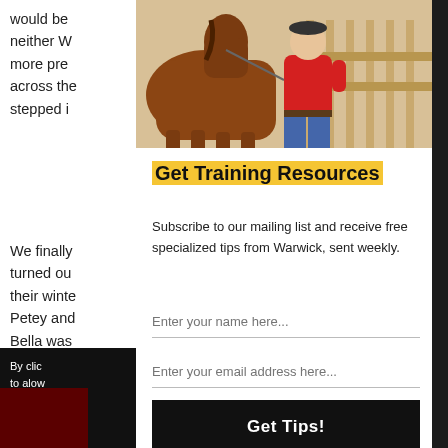would be neither W more pre across the stepped i
We finally turned ou their wint Petey and Bella was
By clic to alow Learn
[Figure (photo): A person in a red shirt standing beside a brown horse outdoors near a wooden fence.]
Get Training Resources
Subscribe to our mailing list and receive free specialized tips from Warwick, sent weekly.
Enter your name here...
Enter your email address here...
Get Tips!